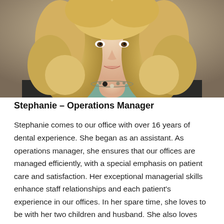[Figure (photo): Professional portrait photograph of Stephanie, Operations Manager, a blonde woman with curly hair wearing a black blazer and a necklace with dark and pearl beads, photographed from shoulders up.]
Stephanie – Operations Manager
Stephanie comes to our office with over 16 years of dental experience. She began as an assistant. As operations manager, she ensures that our offices are managed efficiently, with a special emphasis on patient care and satisfaction. Her exceptional managerial skills enhance staff relationships and each patient's experience in our offices. In her spare time, she loves to be with her two children and husband. She also loves animals!